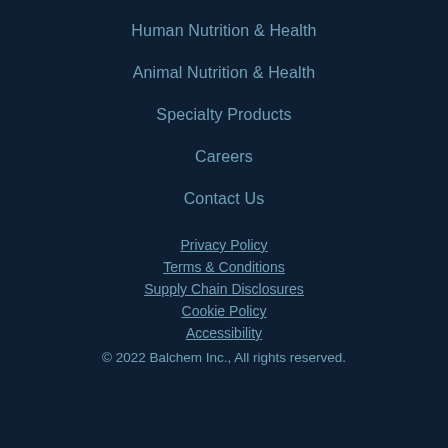Human Nutrition & Health
Animal Nutrition & Health
Specialty Products
Careers
Contact Us
Privacy Policy
Terms & Conditions
Supply Chain Disclosures
Cookie Policy
Accessibility
© 2022 Balchem Inc., All rights reserved.